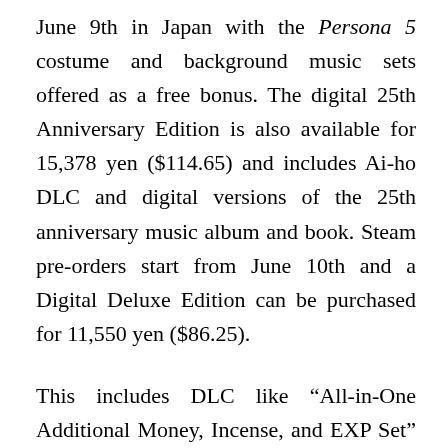June 9th in Japan with the Persona 5 costume and background music sets offered as a free bonus. The digital 25th Anniversary Edition is also available for 15,378 yen ($114.65) and includes Ai-ho DLC and digital versions of the 25th anniversary music album and book. Steam pre-orders start from June 10th and a Digital Deluxe Edition can be purchased for 11,550 yen ($86.25).
This includes DLC like “All-in-One Additional Money, Incense, and EXP Set” and “Additional Scenario: Lost Numbers” (which features a new character). The Digital Premium Edition costs 14,630 yen ($109.32) and includes the above along with the “All-in-One Additional Costumes and